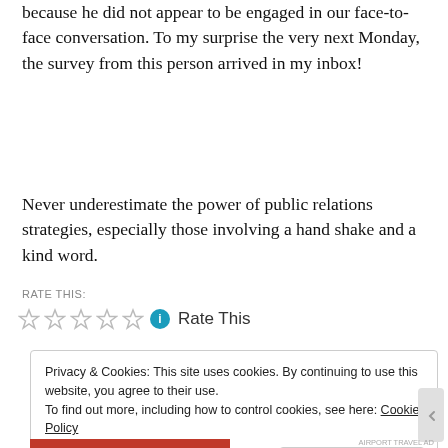because he did not appear to be engaged in our face-to-face conversation. To my surprise the very next Monday, the survey from this person arrived in my inbox!
Never underestimate the power of public relations strategies, especially those involving a hand shake and a kind word.
RATE THIS:
[Figure (other): Five empty star rating icons followed by a blue info icon and 'Rate This' text]
Privacy & Cookies: This site uses cookies. By continuing to use this website, you agree to their use. To find out more, including how to control cookies, see here: Cookie Policy
Close and accept